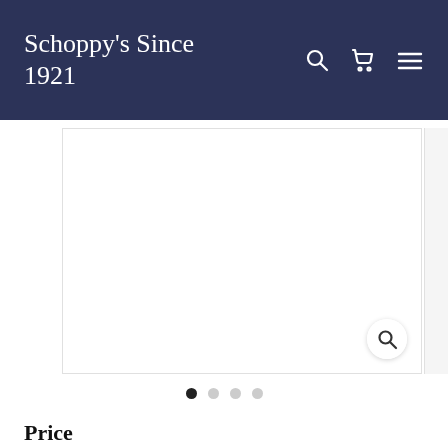Schoppy's Since 1921
[Figure (screenshot): Product image viewer area, white/blank product image with a magnify/zoom button in lower right corner]
[Figure (other): Image carousel dot indicators: 4 dots, first dot is active (filled black), remaining 3 dots are light grey]
Price